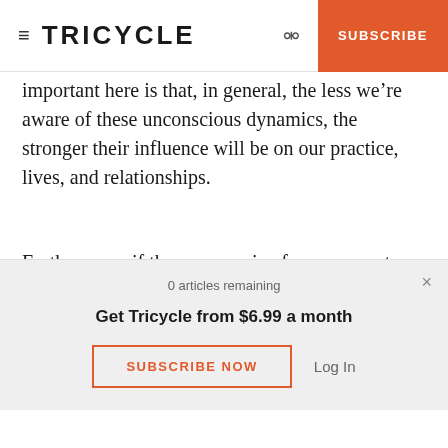≡ TRICYCLE  🔍  SUBSCRIBE
important here is that, in general, the less we're aware of these unconscious dynamics, the stronger their influence will be on our practice, lives, and relationships.
Furthermore, if these repressive forces are not addressed, they can become more entrenched within the practice itself: over time they have the potential to manifest themselves more fully as
0 articles remaining
Get Tricycle from $6.99 a month
SUBSCRIBE NOW
Log In